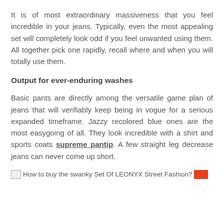It is of most extraordinary massiveness that you feel incredible in your jeans. Typically, even the most appealing set will completely look odd if you feel unwanted using them. All together pick one rapidly, recall where and when you will totally use them.
Output for ever-enduring washes
Basic pants are directly among the versatile game plan of jeans that will verifiably keep being in vogue for a serious expanded timeframe. Jazzy recolored blue ones are the most easygoing of all. They look incredible with a shirt and sports coats supreme pantip. A few straight leg decrease jeans can never come up short.
[Figure (other): Broken image placeholder with alt text: How to buy the swanky Set Of LEONYX Street Fashion? followed by a red rectangle]